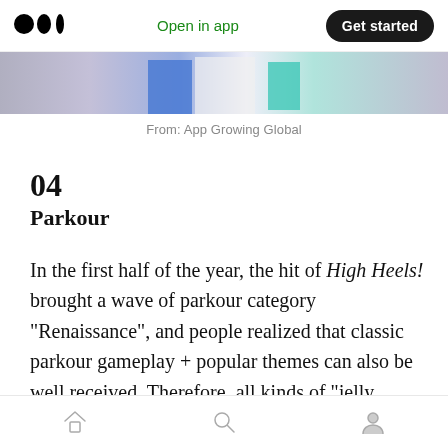Medium logo | Open in app | Get started
[Figure (photo): A partial banner image showing a person in white clothing against a colorful background with blue and teal accents]
From: App Growing Global
04
Parkour
In the first half of the year, the hit of High Heels! brought a wave of parkour category “Renaissance”, and people realized that classic parkour gameplay + popular themes can also be well received. Therefore, all kinds of “jelly people”, “unspeakable things” ran away one after
Home | Search | Profile